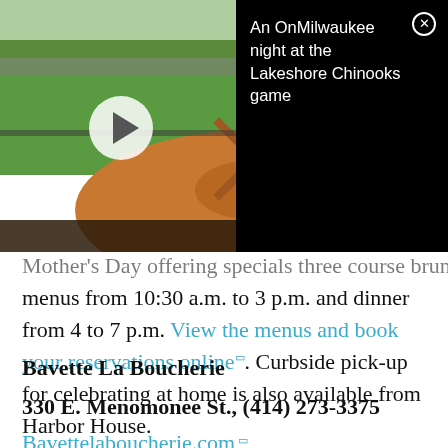[Figure (screenshot): Video thumbnail showing a baseball field/stadium with green outfield and infield dirt, overlaid with a white play button circle. To the right is a black panel with white text reading 'An OnMilwaukee night at the Lakeshore Chinooks game' and a close button (X in a circle).]
Mother's Day offering specials three course brunch menus from 10:30 a.m. to 3 p.m. and dinner from 4 to 7 p.m. View the menus and book your reservations online. Curbside pick-up for celebrating at home is also available from Harbor House.
Bavette La Boucherie
330 E. Menomonee St., (414) 273-3375
Bavettelaboucherie.com
Offering: Dine in brunch or pre-ordered carry-out